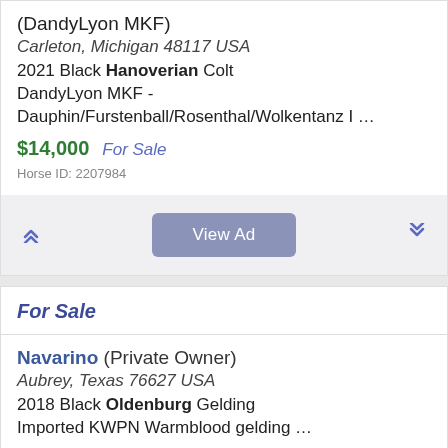(DandyLyon MKF)
Carleton, Michigan 48117 USA
2021 Black Hanoverian Colt
DandyLyon MKF - Dauphin/Furstenball/Rosenthal/Wolkentanz I …
$14,000  For Sale
Horse ID: 2207984
For Sale
Navarino (Private Owner)
Aubrey, Texas 76627 USA
2018 Black Oldenburg Gelding
Imported KWPN Warmblood gelding …
$55,000  For Sale
Horse ID: 2219855